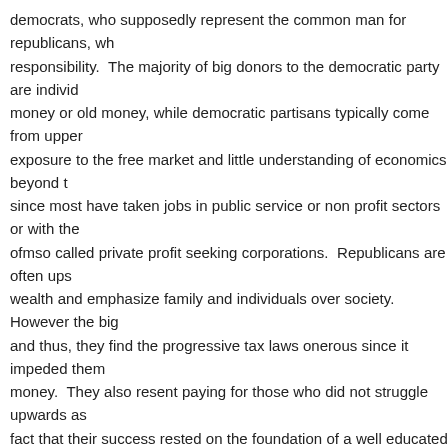democrats, who supposedly represent the common man for republicans, who responsibility. The majority of big donors to the democratic party are individ money or old money, while democratic partisans typically come from upper exposure to the free market and little understanding of economics beyond t since most have taken jobs in public service or non profit sectors or with the ofmso called private profit seeking corporations. Republicans are often ups wealth and emphasize family and individuals over society. However the big and thus, they find the progressive tax laws onerous since it impeded them money. They also resent paying for those who did not struggle upwards as fact that their success rested on the foundation of a well educated and socia they depended. Neither party can alienate their big donors or their partisan political stagnation occurs.
I focus my criticism on democrats and progressives in the hope that the den and responsible than the republican party, though thus far my biased view h both parties beholden to the captains of finance, an increase in the capital g interest loophole seems unlikely. I will not even bother to try to convince the will also consider my critique, as without major reform of one or both parties emerge which will sweep away the extremist on both left and right. After all not because they are lazy or uneducated, but because they have seen the p